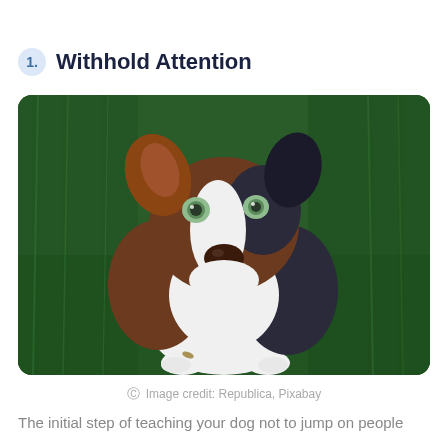1. Withhold Attention
[Figure (photo): An Australian Shepherd dog looking up at the camera from a green grass background, mouth open and appearing happy.]
Image credit: Republica, Pixabay
The initial step of teaching your dog not to jump on people